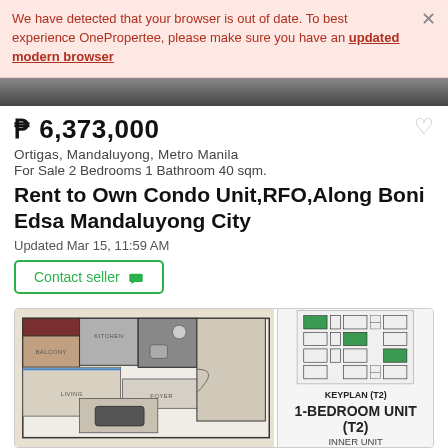We have detected that your browser is out of date. To best experience OnePropertee, please make sure you have an updated modern browser
[Figure (photo): Property photo strip (partially visible at top)]
₱ 6,373,000
Ortigas, Mandaluyong, Metro Manila
For Sale 2 Bedrooms 1 Bathroom 40 sqm.
Rent to Own Condo Unit,RFO,Along Boni Edsa Mandaluyong City
Updated Mar 15, 11:59 AM
Contact seller
[Figure (engineering-diagram): Condo floor plan showing balcony, living area, kitchen, foyer, dining area with keyplan (T2) and label '1-BEDROOM UNIT (T2) INNER UNIT']